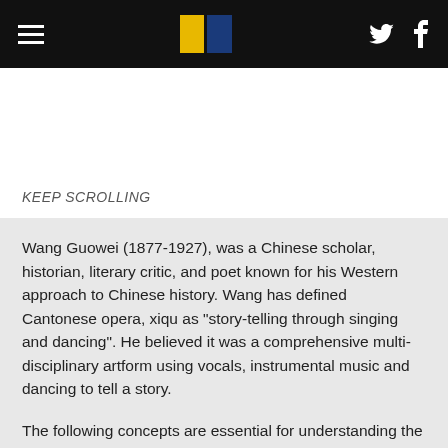Navigation bar with hamburger menu, logo, Twitter and Facebook icons
KEEP SCROLLING
Wang Guowei (1877-1927), was a Chinese scholar, historian, literary critic, and poet known for his Western approach to Chinese history. Wang has defined Cantonese opera, xiqu as "story-telling through singing and dancing". He believed it was a comprehensive multi-disciplinary artform using vocals, instrumental music and dancing to tell a story.
The following concepts are essential for understanding the style and characteristics of Cantonese opera.